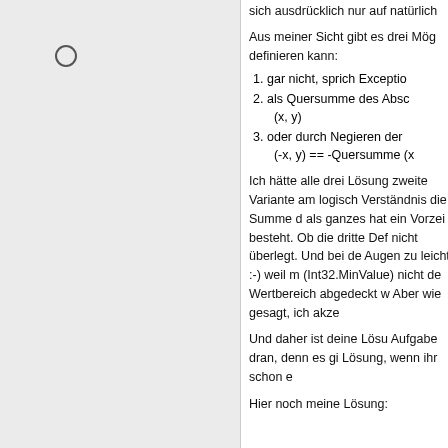sich ausdrücklich nur auf natürlich
Aus meiner Sicht gibt es drei Mög definieren kann:
1. gar nicht, sprich Exceptio
2. als Quersumme des Absc (x, y)
3. oder durch Negieren der (-x, y) == -Quersumme (x
Ich hätte alle drei Lösung zweite Variante am logisch Verständnis die Summe d als ganzes hat ein Vorzei besteht. Ob die dritte Def nicht überlegt. Und bei de Augen zu leicht :-) weil m (Int32.MinValue) nicht de Wertbereich abgedeckt w Aber wie gesagt, ich akze
Und daher ist deine Lösu Aufgabe dran, denn es gi Lösung, wenn ihr schon e
Hier noch meine Lösung: